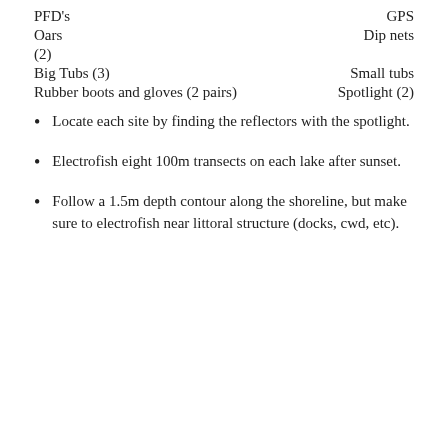PFD's — GPS
Oars — Dip nets
(2)
Big Tubs (3) — Small tubs
Rubber boots and gloves (2 pairs) — Spotlight (2)
Locate each site by finding the reflectors with the spotlight.
Electrofish eight 100m transects on each lake after sunset.
Follow a 1.5m depth contour along the shoreline, but make sure to electrofish near littoral structure (docks, cwd, etc).